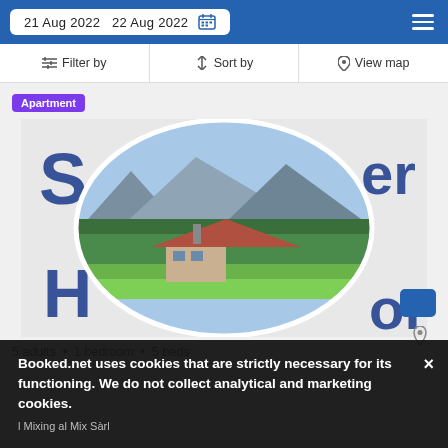21 Aug 2022  22 Aug 2022
Filter by  Sort by  View map
Apartment
[Figure (photo): Aerial/landscape photo of a house with mountains, green fields, and forest in the background, shown inside an oval/circle crop with decorative text around it (partially visible letters: S, er, H, on)]
5 adults • 1 bedroom • 5 beds
Booked.net uses cookies that are strictly necessary for its functioning. We do not collect analytical and marketing cookies.